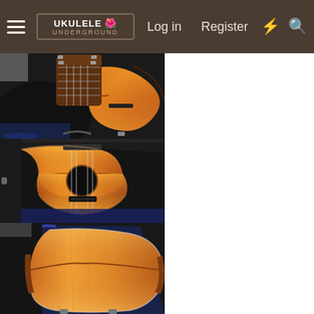Ukulele Underground - Log in | Register
[Figure (photo): Ukulele with flamed koa wood body displayed in an open black hardshell case, viewed from above at an angle showing headstock and fretboard]
[Figure (photo): Close-up of ukulele with flamed koa wood body in black hardshell case, showing the body, soundhole, and bridge]
[Figure (photo): Side and back view of ukulele body with flamed koa wood in black hardshell case with blue lining]